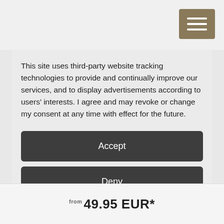This site uses third-party website tracking technologies to provide and continually improve our services, and to display advertisements according to users' interests. I agree and may revoke or change my consent at any time with effect for the future.
Accept
Deny
more
Powered by  usercentrics  &  eRecht24
from 49.95 EUR*